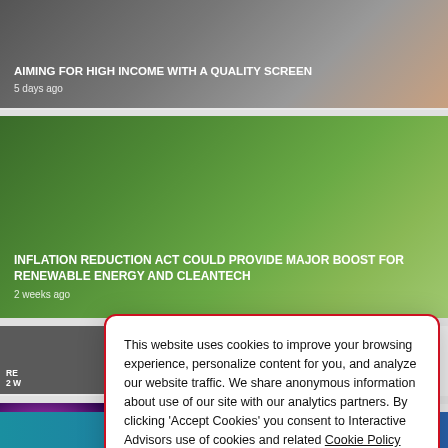[Figure (screenshot): News card with dark background showing handwritten text on paper, headline about high income investing]
AIMING FOR HIGH INCOME WITH A QUALITY SCREEN
5 days ago
[Figure (photo): News card with green leafy background, headline about Inflation Reduction Act and renewable energy]
INFLATION REDUCTION REDUCTION ACT COULD PROVIDE MAJOR BOOST FOR RENEWABLE ENERGY AND CLEANTECH
2 weeks ago
This website uses cookies to improve your browsing experience, personalize content for you, and analyze our website traffic. We share anonymous information about use of our site with our analytics partners. By clicking 'Accept Cookies' you consent to Interactive Advisors use of cookies and related Cookie Policy
Cookie Preferences
Accept Cookies